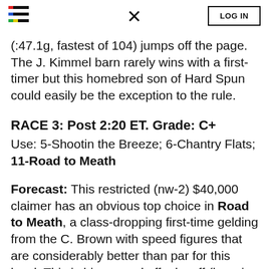LOG IN
(:47.1g, fastest of 104) jumps off the page. The J. Kimmel barn rarely wins with a first-timer but this homebred son of Hard Spun could easily be the exception to the rule.
RACE 3: Post 2:20 ET. Grade: C+
Use: 5-Shootin the Breeze; 6-Chantry Flats; 11-Road to Meath
Forecast: This restricted (nw-2) $40,000 claimer has an obvious top choice in Road to Meath, a class-dropping first-time gelding from the C. Brown with speed figures that are considerably better than par for this level. This is his second off a layoff (barn is 25% with this angle) and the drop in class for the 5-year-old son of Quality Road – who always has had trouble stringing races together – seems